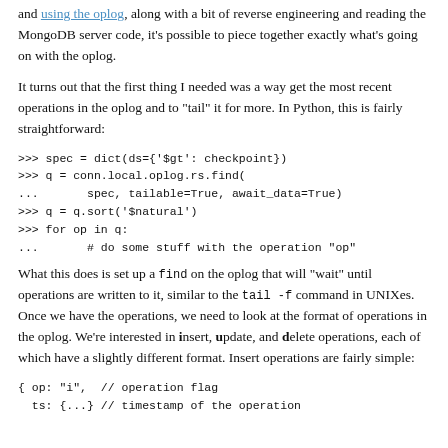and using the oplog, along with a bit of reverse engineering and reading the MongoDB server code, it's possible to piece together exactly what's going on with the oplog.
It turns out that the first thing I needed was a way get the most recent operations in the oplog and to "tail" it for more. In Python, this is fairly straightforward:
What this does is set up a find on the oplog that will "wait" until operations are written to it, similar to the tail -f command in UNIXes. Once we have the operations, we need to look at the format of operations in the oplog. We're interested in insert, update, and delete operations, each of which have a slightly different format. Insert operations are fairly simple: